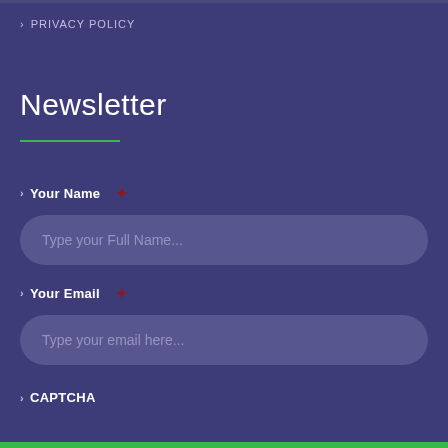PRIVACY POLICY
Newsletter
Your Name *
Type your Full Name...
Your Email *
Type your email here...
CAPTCHA